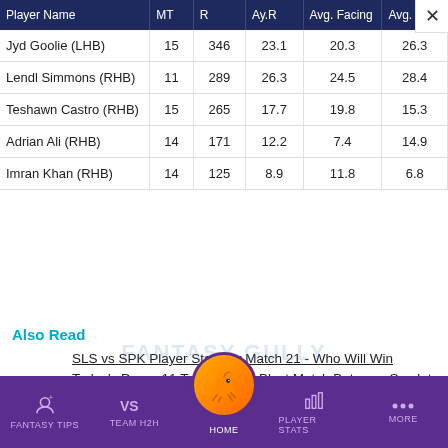| Player Name | MT | R | Ay.R | Avg. Facing | Avg. E |
| --- | --- | --- | --- | --- | --- |
| Jyd Goolie (LHB) | 15 | 346 | 23.1 | 20.3 | 26.3 |
| Lendl Simmons (RHB) | 11 | 289 | 26.3 | 24.5 | 28.4 |
| Teshawn Castro (RHB) | 15 | 265 | 17.7 | 19.8 | 15.3 |
| Adrian Ali (RHB) | 14 | 171 | 12.2 | 7.4 | 14.9 |
| Imran Khan (RHB) | 14 | 125 | 8.9 | 11.8 | 6.8 |
Also Read
SLS vs SPK Player Stats for Match 21 - Who Will Win Today's Dream11 Trinidad T10 Blast Match Between Scarlet Ibis Scorchers…
FANTASY TIPS   TEAM H2H   HOME   PLAYER STATS   MORE